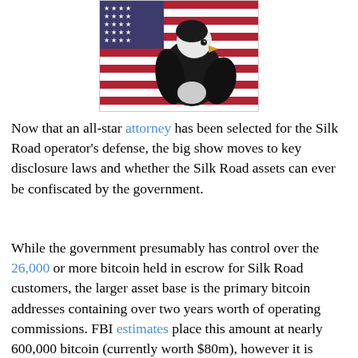[Figure (photo): A bald eagle in front of an American flag with red and white stripes and white stars on blue background.]
Now that an all-star attorney has been selected for the Silk Road operator's defense, the big show moves to key disclosure laws and whether the Silk Road assets can ever be confiscated by the government.
While the government presumably has control over the 26,000 or more bitcoin held in escrow for Silk Road customers, the larger asset base is the primary bitcoin addresses containing over two years worth of operating commissions. FBI estimates place this amount at nearly 600,000 bitcoin (currently worth $80m), however it is probably significantly less than 600,000 since earlier bitcoin was not worth what it is now and some of it would have been paid out to employees or reinvested back into ongoing operations.